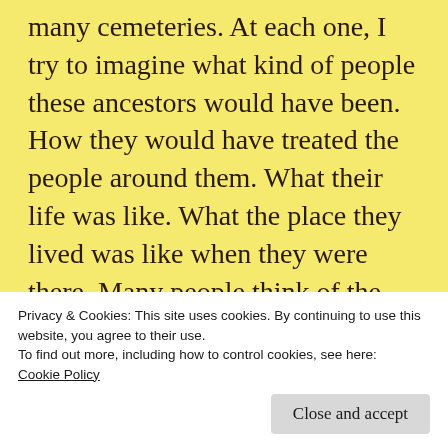many cemeteries. At each one, I try to imagine what kind of people these ancestors would have been. How they would have treated the people around them. What their life was like. What the place they lived was like when they were there. Many people think of the cemetery as a place only for the dead and for the grieving. True that grieving is certainly a part of many people's cemetery experience. But, for me, it's a place where I try to understand the li...
Privacy & Cookies: This site uses cookies. By continuing to use this website, you agree to their use.
To find out more, including how to control cookies, see here:
Cookie Policy
Close and accept
[Figure (photo): Bottom strip showing fingers/hands, partially cropped]